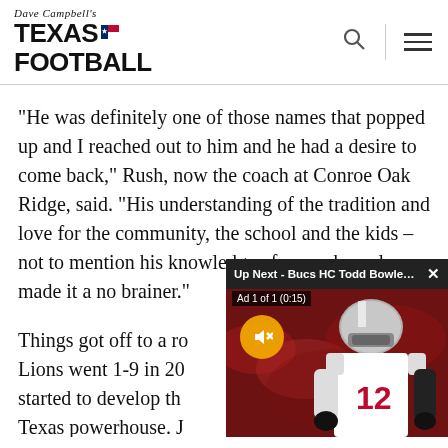Dave Campbell's Texas Football
“He was definitely one of those names that popped up and I reached out to him and he had a desire to come back,” Rush, now the coach at Conroe Oak Ridge, said. “His understanding of the tradition and love for the community, the school and the kids – not to mention his knowledge of secondary play – made it a no brainer.”
Things got off to a ro... Lions went 1-9 in 20... started to develop th... Texas powerhouse. J... 2008 before recordin...
[Figure (screenshot): Video overlay popup: 'Up Next - Bucs HC Todd Bowles Unclear ...' with close button X, 'Ad 1 of 1 (0:15)' label, mute button, and thumbnail of a football player wearing jersey number 12 in white Tampa Bay Buccaneers uniform]